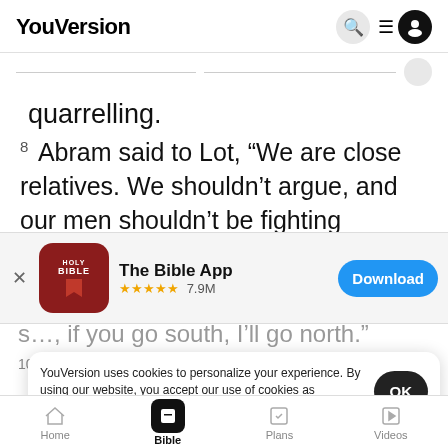YouVersion
quarrelling.
8 Abram said to Lot, “We are close relatives. We shouldn’t argue, and our men shouldn’t be fighting
[Figure (screenshot): App store banner for The Bible App showing Holy Bible icon, 5-star rating 7.9M, and Download button]
s…, if you go south, I’ll go north.”
10 Th…
destroyed the cities of Sodom and Gomorrah. And
[Figure (screenshot): Cookie consent dialog: YouVersion uses cookies to personalize your experience. By using our website, you accept our use of cookies as described in our Privacy Policy. OK button.]
Home  Bible  Plans  Videos